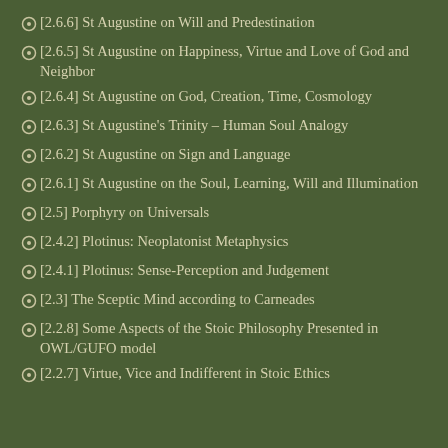[2.6.6] St Augustine on Will and Predestination
[2.6.5] St Augustine on Happiness, Virtue and Love of God and Neighbor
[2.6.4] St Augustine on God, Creation, Time, Cosmology
[2.6.3] St Augustine's Trinity – Human Soul Analogy
[2.6.2] St Augustine on Sign and Language
[2.6.1] St Augustine on the Soul, Learning, Will and Illumination
[2.5] Porphyry on Universals
[2.4.2] Plotinus: Neoplatonist Metaphysics
[2.4.1] Plotinus: Sense-Perception and Judgement
[2.3] The Sceptic Mind according to Carneades
[2.2.8] Some Aspects of the Stoic Philosophy Presented in OWL/GUFO model
[2.2.7] Virtue, Vice and Indifferent in Stoic Ethics